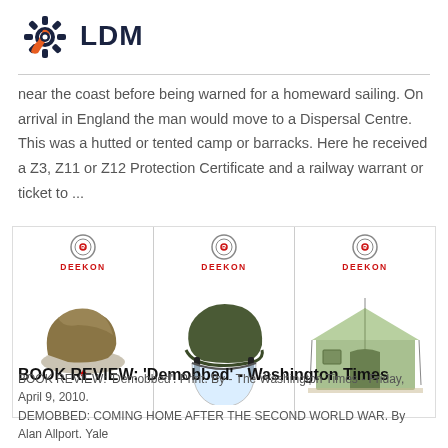LDM
near the coast before being warned for a homeward sailing. On arrival in England the man would move to a Dispersal Centre. This was a hutted or tented camp or barracks. Here he received a Z3, Z11 or Z12 Protection Certificate and a railway warrant or ticket to ...
[Figure (photo): Three military product images from Deekon: a military cap/hat, a military helmet with face shield, and a military tent.]
BOOK REVIEW: 'Demobbed' - Washington Times
BOOK REVIEW: 'Demobbed'. Print. By - The Washington Times - Friday, April 9, 2010. DEMOBBED: COMING HOME AFTER THE SECOND WORLD WAR. By Alan Allport. Yale